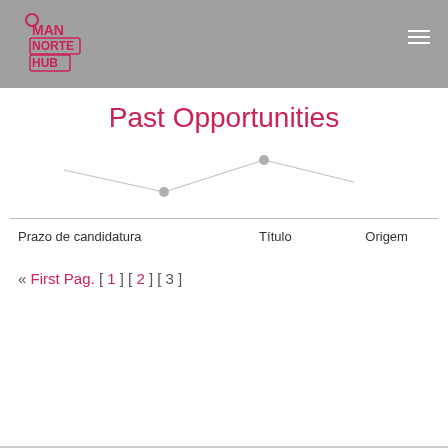O MAN NORTE HUB (logo) navigation header
Past Opportunities
[Figure (continuous-plot): A simple line chart with two gray nodes connected, showing a V-like shape. No labeled data points or axes.]
| Prazo de candidatura | Título | Origem |
| --- | --- | --- |
« First Pag. [ 1 ] [ 2 ] [ 3 ]